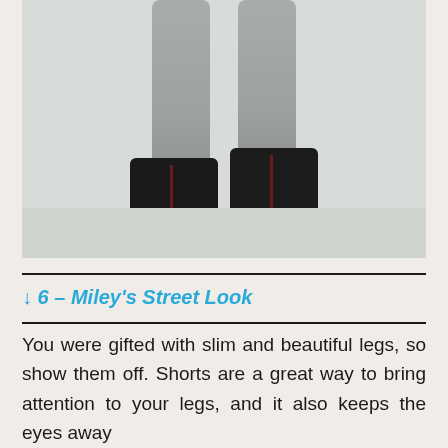[Figure (photo): Close-up photo of a person's legs wearing gray knee-high socks and chunky black lace-up platform boots, standing against a light gray wall.]
↓ 6 – Miley's Street Look
You were gifted with slim and beautiful legs, so show them off. Shorts are a great way to bring attention to your legs, and it also keeps the eyes away